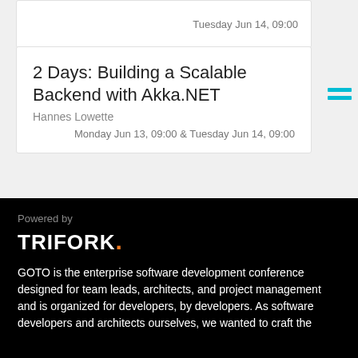Tuesday Jun 14, 09:00
2 Days: Building a Scalable Backend with Akka.NET
Hannes Lowette
Monday Jun 13, 09:00 & Tuesday Jun 14, 09:00
Powered by
[Figure (logo): TRIFORK logo in white bold uppercase letters with an orange dot after the K]
GOTO is the enterprise software development conference designed for team leads, architects, and project management and is organized for developers, by developers. As software developers and architects ourselves, we wanted to craft the